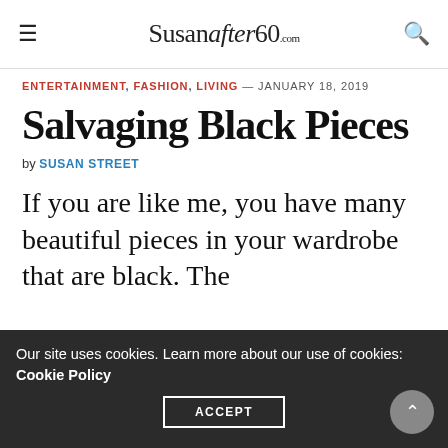Susanafter60.com
ENTERTAINMENT, FASHION, LIVING — JANUARY 18, 2019
Salvaging Black Pieces
by SUSAN STREET
If you are like me, you have many beautiful pieces in your wardrobe that are black. The
Our site uses cookies. Learn more about our use of cookies: Cookie Policy ACCEPT